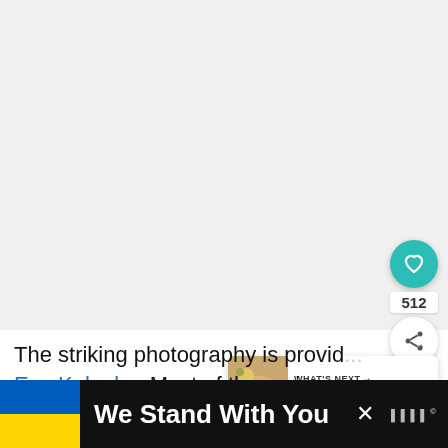[Figure (photo): Large food/recipe photograph occupying the upper portion of the page, light gray background placeholder]
The striking photography is provid... Eva Kolenko. Most of the recipes are a...
[Figure (other): What's Next card showing Giouvarlakia Soupa and... with a food thumbnail image]
We Stand With You